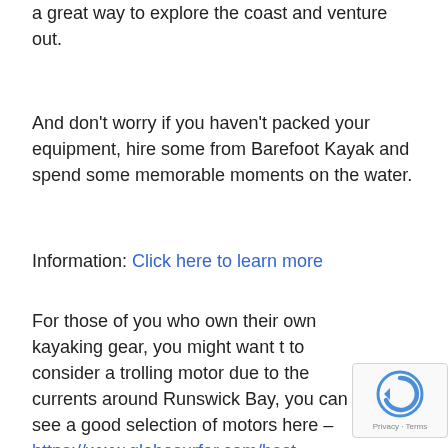a great way to explore the coast and venture out.
And don't worry if you haven't packed your equipment, hire some from Barefoot Kayak and spend some memorable moments on the water.
Information: Click here to learn more
For those of you who own their own kayaking gear, you might want t to consider a trolling motor due to the currents around Runswick Bay, you can see a good selection of motors here – https://www.globosurfer.com/best-trolling-motors-for-kayak/